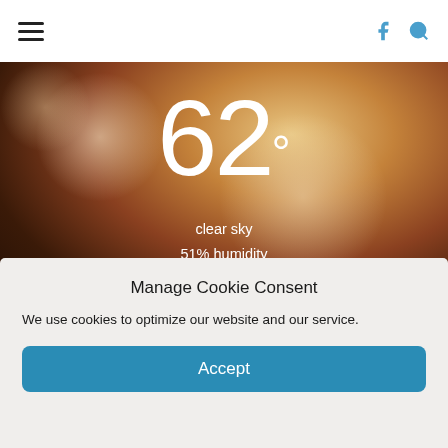Navigation bar with hamburger menu and social/search icons
[Figure (screenshot): Weather widget showing 62° temperature, clear sky, 51% humidity, wind: 2m/s WNW, H 65 • L 60, with bokeh background and forecast icons row]
Manage Cookie Consent
We use cookies to optimize our website and our service.
Accept